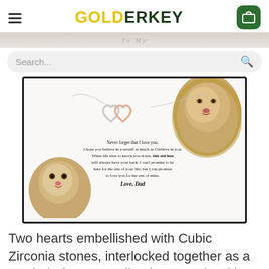GOIDERKEY (logo with hamburger menu and cart)
Search...
[Figure (photo): Product gift box photo showing two interlocked hearts necklace (one silver, one rose gold) with Cubic Zirconia stones, displayed against a white background with a lion and lion cub image, and a message card reading: 'Never forget that I love you. I hope you believe in yourself as much as I believe in you. When life tries to knock you down, this old lion will always have your back. I can't promise to be here for the rest of your life, but I can promise to love you for the rest of mine. Love, Dad']
Two hearts embellished with Cubic Zirconia stones, interlocked together as a symbol of never-ending love. Made with high quality polished surgical steel. Cable chain measures 18 inches